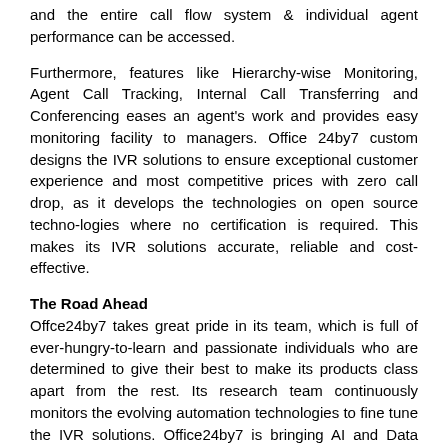and the entire call flow system & individual agent performance can be accessed.
Furthermore, features like Hierarchy-wise Monitoring, Agent Call Tracking, Internal Call Transferring and Conferencing eases an agent's work and provides easy monitoring facility to managers. Office 24by7 custom designs the IVR solutions to ensure exceptional customer experience and most competitive prices with zero call drop, as it develops the technologies on open source techno-logies where no certification is required. This makes its IVR solutions accurate, reliable and cost-effective.
The Road Ahead
Offce24by7 takes great pride in its team, which is full of ever-hungry-to-learn and passionate individuals who are determined to give their best to make its products class apart from the rest. Its research team continuously monitors the evolving automation technologies to fine tune the IVR solutions. Office24by7 is bringing AI and Data Science together to device IVR solutions that will address the customer pain points, improve the agent performance and catalyse several other far-reaching consequences in the automation arena.